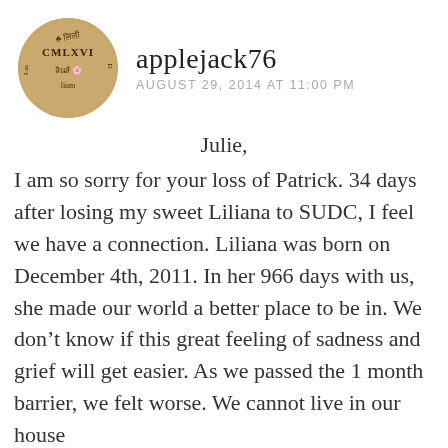[Figure (photo): Circular avatar image showing a tattoo with text including 'CMLXVI' and various script characters]
applejack76
AUGUST 29, 2014 AT 11:00 PM
Julie,
I am so sorry for your loss of Patrick. 34 days after losing my sweet Liliana to SUDC, I feel we have a connection. Liliana was born on December 4th, 2011. In her 966 days with us, she made our world a better place to be in. We don’t know if this great feeling of sadness and grief will get easier. As we passed the 1 month barrier, we felt worse. We cannot live in our house